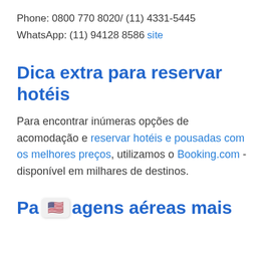Phone: 0800 770 8020/ (11) 4331-5445
WhatsApp: (11) 94128 8586
site
Dica extra para reservar hotéis
Para encontrar inúmeras opções de acomodação e reservar hotéis e pousadas com os melhores preços, utilizamos o Booking.com - disponível em milhares de destinos.
Passagens aéreas mais